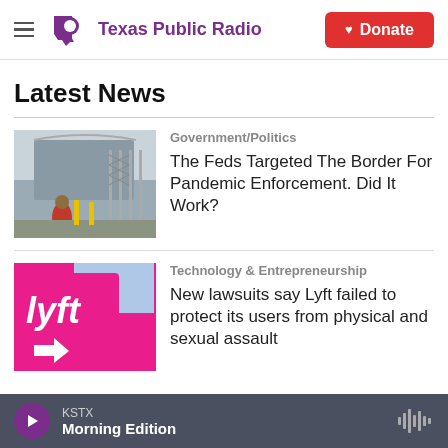Texas Public Radio — Donate
Latest News
[Figure (photo): Border crossing area with fence, person in red jacket visible]
Government/Politics
The Feds Targeted The Border For Pandemic Enforcement. Did It Work?
[Figure (photo): Pink Lyft logo sign with arrow]
Technology & Entrepreneurship
New lawsuits say Lyft failed to protect its users from physical and sexual assault
KSTX Morning Edition